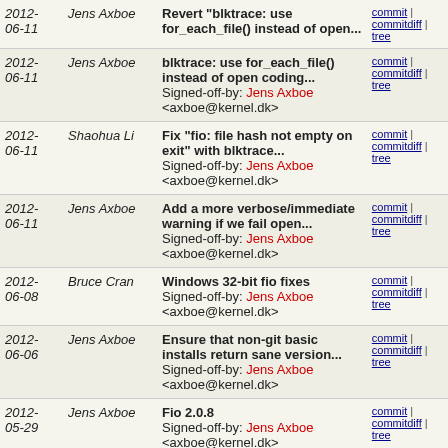| Date | Author | Commit | Links |
| --- | --- | --- | --- |
| 2012-06-11 | Jens Axboe | Revert "blktrace: use for_each_file() instead of open... | commit | commitdiff | tree |
| 2012-06-11 | Jens Axboe | blktrace: use for_each_file() instead of open coding...
Signed-off-by: Jens Axboe <axboe@kernel.dk> | commit | commitdiff | tree |
| 2012-06-11 | Shaohua Li | Fix "fio: file hash not empty on exit" with blktrace...
Signed-off-by: Jens Axboe <axboe@kernel.dk> | commit | commitdiff | tree |
| 2012-06-11 | Jens Axboe | Add a more verbose/immediate warning if we fail open...
Signed-off-by: Jens Axboe <axboe@kernel.dk> | commit | commitdiff | tree |
| 2012-06-08 | Bruce Cran | Windows 32-bit fio fixes
Signed-off-by: Jens Axboe <axboe@kernel.dk> | commit | commitdiff | tree |
| 2012-06-06 | Jens Axboe | Ensure that non-git basic installs return sane version...
Signed-off-by: Jens Axboe <axboe@kernel.dk> | commit | commitdiff | tree |
| 2012-05-29 | Jens Axboe | Fio 2.0.8
Signed-off-by: Jens Axboe <axboe@kernel.dk> | commit | commitdiff | tree |
| 2012-05-11 | Jens Axboe | eta: ETA bandwidth was off by 1.024
Signed-off-by: Jens Axboe <axboe@kernel.dk> | commit | commitdiff | tree |